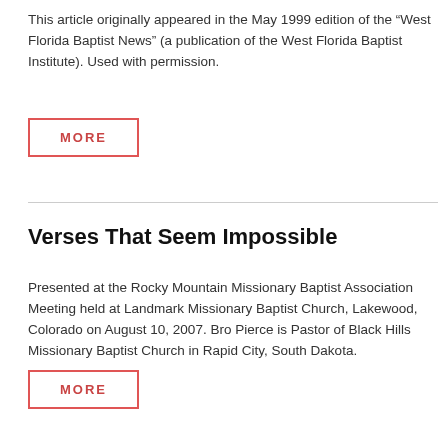This article originally appeared in the May 1999 edition of the “West Florida Baptist News” (a publication of the West Florida Baptist Institute). Used with permission.
MORE
Verses That Seem Impossible
Presented at the Rocky Mountain Missionary Baptist Association Meeting held at Landmark Missionary Baptist Church, Lakewood, Colorado on August 10, 2007. Bro Pierce is Pastor of Black Hills Missionary Baptist Church in Rapid City, South Dakota.
MORE